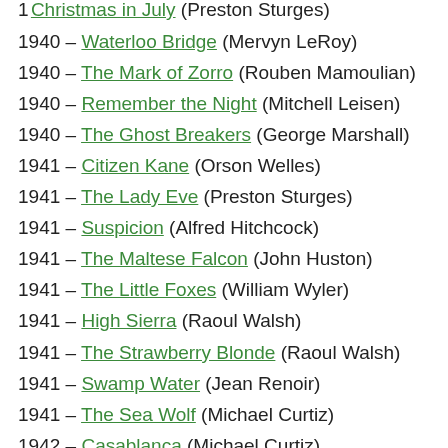1940 – Waterloo Bridge (Mervyn LeRoy)
1940 – The Mark of Zorro (Rouben Mamoulian)
1940 – Remember the Night (Mitchell Leisen)
1940 – The Ghost Breakers (George Marshall)
1941 – Citizen Kane (Orson Welles)
1941 – The Lady Eve (Preston Sturges)
1941 – Suspicion (Alfred Hitchcock)
1941 – The Maltese Falcon (John Huston)
1941 – The Little Foxes (William Wyler)
1941 – High Sierra (Raoul Walsh)
1941 – The Strawberry Blonde (Raoul Walsh)
1941 – Swamp Water (Jean Renoir)
1941 – The Sea Wolf (Michael Curtiz)
1942 – Casablanca (Michael Curtiz)
1942 – The Magnificent Ambersons (Orson Welles)
1942 – Yankee Doodle Dandy (Michael Curtiz)
1942 – Cat People (Jacques Tourneur)
1942 – Gentleman Jim (Raoul Walsh)